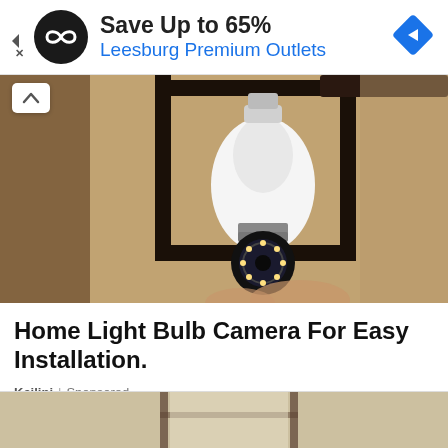[Figure (other): Advertisement banner: black circular logo with infinity-like symbol, text 'Save Up to 65%' and 'Leesburg Premium Outlets', blue diamond navigation icon on right, play/close controls on left]
[Figure (photo): Photo of a home light bulb security camera being installed into an outdoor wall lantern fixture, beige stucco wall in background, black metal lantern frame, white bulb-shaped camera body with circular lens and LED ring]
Home Light Bulb Camera For Easy Installation.
Keilini | Sponsored
[Figure (photo): Partial bottom strip showing top portion of another article image with window/door frame visible]